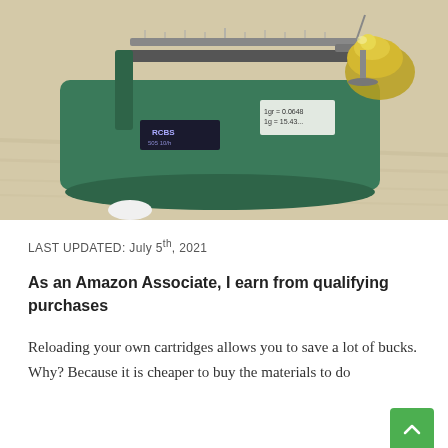[Figure (photo): A green RCBS reloading powder scale on a wooden surface, with a brass/gold bullet or weight on the right side]
LAST UPDATED: July 5th, 2021
As an Amazon Associate, I earn from qualifying purchases
Reloading your own cartridges allows you to save a lot of bucks. Why? Because it is cheaper to buy the materials to do